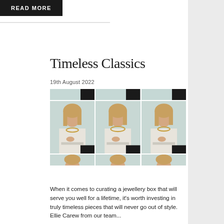READ MORE
Timeless Classics
19th August 2022
[Figure (photo): Three-column grid of fashion model photos showing a blonde woman in white outfit with gold jewellery against a light blue background, repeated three times. Top and bottom rows show partial strips.]
When it comes to curating a jewellery box that will serve you well for a lifetime, it's worth investing in truly timeless pieces that will never go out of style. Ellie Carew from our team...